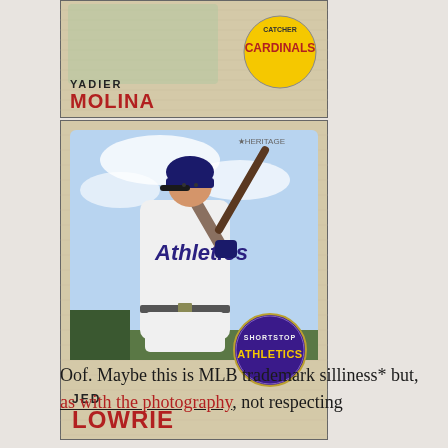[Figure (photo): Top portion of a Topps Heritage baseball card showing Yadier Molina, Catcher, Cardinals, with name displayed as 'YADIER' in bold black and 'MOLINA' in red lettering, and a yellow Cardinals team badge.]
[Figure (photo): A Topps Heritage baseball card showing Jed Lowrie, Shortstop, Athletics. The card shows a player in a batting stance wearing an Athletics uniform, with a purple Athletics team badge in the lower right. Name shown as 'JED' in bold black and 'LOWRIE' in red lettering.]
Oof. Maybe this is MLB trademark silliness* but, as with the photography, not respecting